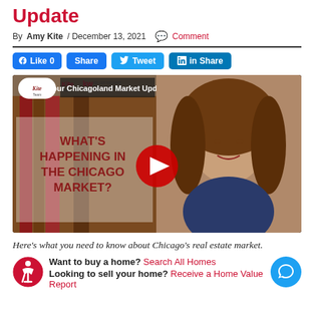Update
By Amy Kite / December 13, 2021 💬 Comment
[Figure (screenshot): Social share buttons: Like 0, Share (Facebook), Tweet (Twitter), Share (LinkedIn)]
[Figure (screenshot): YouTube video thumbnail titled 'Your Chicagoland Market Update' showing a woman smiling and text 'WHAT'S HAPPENING IN THE CHICAGO MARKET?' with Kite Team and KW Keller Williams logos and a play button.]
Here's what you need to know about Chicago's real estate market.
Want to buy a home? Search All Homes
Looking to sell your home? Receive a Home Value Report